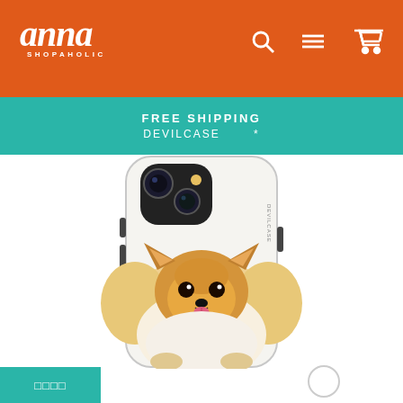Anna SHOPAHOLIC
FREE SHIPPING DEVILCASE *
[Figure (photo): iPhone case with illustrated Pomeranian dog on white background, showing phone case product with camera cutout at top]
□□□□